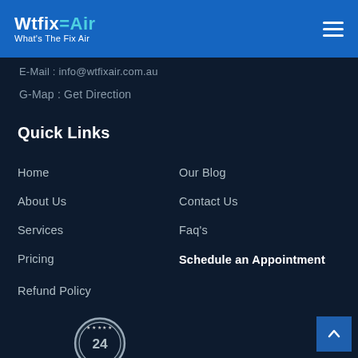Wtfix=Air What's The Fix Air
E-Mail : info@wtfixair.com.au
G-Map : Get Direction
Quick Links
Home
Our Blog
About Us
Contact Us
Services
Faq's
Pricing
Schedule an Appointment
Refund Policy
[Figure (illustration): 24-hour badge/seal with stars, partially visible at bottom of page]